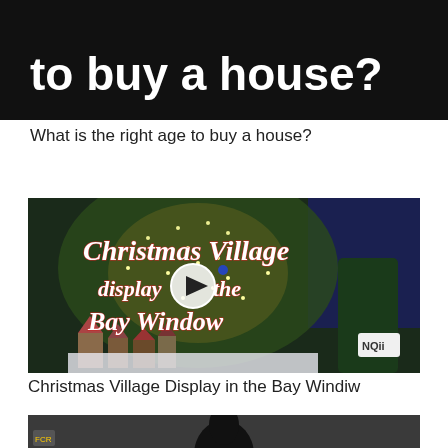[Figure (screenshot): Video thumbnail with black background showing white bold text 'to buy a house?']
What is the right age to buy a house?
[Figure (screenshot): Video thumbnail showing a Christmas Village display in a bay window with decorated tree, miniature village houses, and text overlay reading 'Christmas Village display in the Bay Window' with a play button in the center. Small NQii logo in bottom right.]
Christmas Village Display in the Bay Windiw
[Figure (screenshot): Partial video thumbnail showing a person against a dark background with a small logo in bottom left corner]